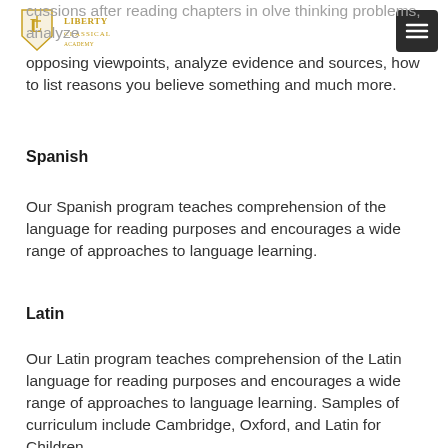[Figure (logo): Liberty Classical school logo with golden text and emblem]
cussions after reading chapters in olve thinking problems, analyze opposing viewpoints, analyze evidence and sources, how to list reasons you believe something and much more.
Spanish
Our Spanish program teaches comprehension of the language for reading purposes and encourages a wide range of approaches to language learning.
Latin
Our Latin program teaches comprehension of the Latin language for reading purposes and encourages a wide range of approaches to language learning. Samples of curriculum include Cambridge, Oxford, and Latin for Children.